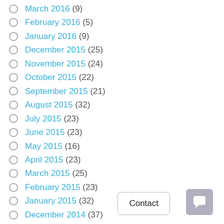March 2016 (9)
February 2016 (5)
January 2016 (9)
December 2015 (25)
November 2015 (24)
October 2015 (22)
September 2015 (21)
August 2015 (32)
July 2015 (23)
June 2015 (23)
May 2015 (16)
April 2015 (23)
March 2015 (25)
February 2015 (23)
January 2015 (32)
December 2014 (37)
November 2014 (26)
October 2014 (26)
September 2014 (28)